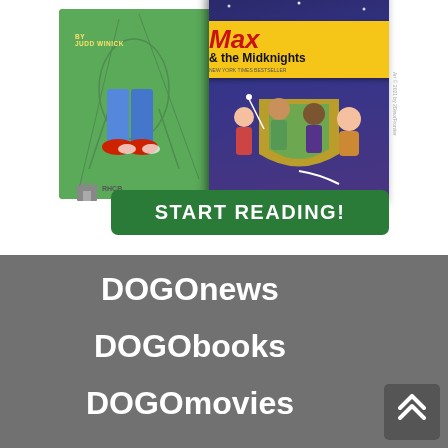[Figure (illustration): Book banner showing two children's book covers on a green background. Left book is green with a character. Right book is 'Max & the Midknights' with a purple/dark background featuring cartoon children. Below books is a green 'START READING!' button and RHCB logo.]
DOGOnews
DOGObooks
DOGOmovies